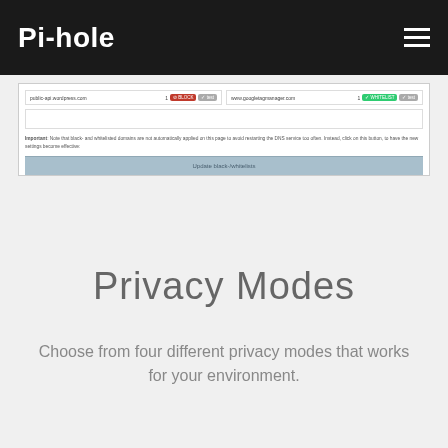Pi-hole
[Figure (screenshot): Pi-hole admin interface screenshot showing domain blacklist/whitelist table with entries 'public-api.wordpress.com' (blocked) and 'www.googletagmanager.com' (whitelisted), along with an important notice about updating black/whitelists and an 'Update black-/whitelists' button]
Privacy Modes
Choose from four different privacy modes that works for your environment.